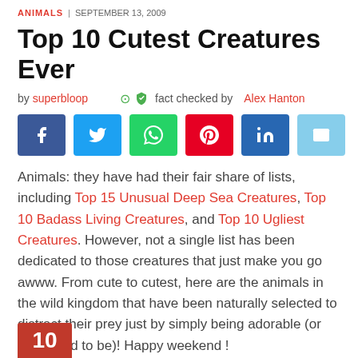ANIMALS | SEPTEMBER 13, 2009
Top 10 Cutest Creatures Ever
by superbloop  fact checked by Alex Hanton
[Figure (infographic): Six social share buttons: Facebook (blue), Twitter (light blue), WhatsApp (green), Pinterest (red), LinkedIn (dark blue), Email (light blue)]
Animals: they have had their fair share of lists, including Top 15 Unusual Deep Sea Creatures, Top 10 Badass Living Creatures, and Top 10 Ugliest Creatures. However, not a single list has been dedicated to those creatures that just make you go awww. From cute to cutest, here are the animals in the wild kingdom that have been naturally selected to distract their prey just by simply being adorable (or were bred to be)! Happy weekend!